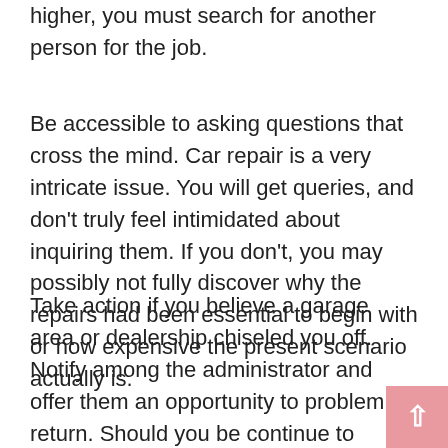higher, you must search for another person for the job.
Be accessible to asking questions that cross the mind. Car repair is a very intricate issue. You will get queries, and don’t truly feel intimidated about inquiring them. If you don’t, you may possibly not fully discover why the repairs had been essential to begin with or how expensive the present scenario actually is.
Take action if you believe a garage area or dealership chiseled you off. Notify among the administrator and offer them an opportunity to problem a return. Should you be continue to unsatisfied, get hold of your neighborhood Far better Business Bureau to file a problem. Your